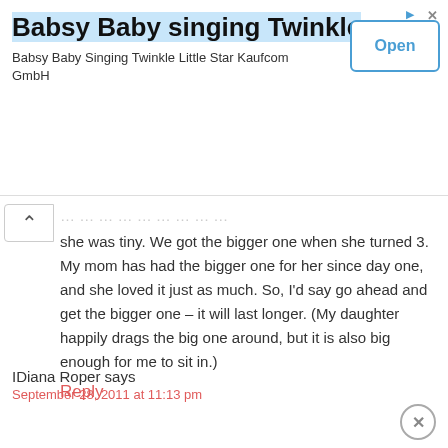[Figure (screenshot): Advertisement banner for 'Babsy Baby singing Twinkle' app by Kaufcom GmbH with an Open button]
she was tiny. We got the bigger one when she turned 3. My mom has had the bigger one for her since day one, and she loved it just as much. So, I'd say go ahead and get the bigger one – it will last longer. (My daughter happily drags the big one around, but it is also big enough for me to sit in.)
Reply
IDiana Roper says
September 28, 2011 at 11:13 pm